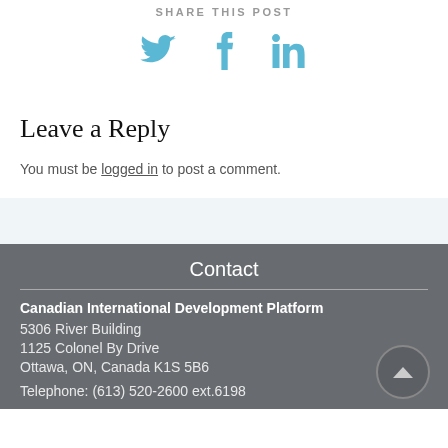SHARE THIS POST
[Figure (illustration): Social media share icons: Twitter bird, Facebook f, LinkedIn in — all in teal/light-blue color]
Leave a Reply
You must be logged in to post a comment.
Contact
Canadian International Development Platform
5306 River Building
1125 Colonel By Drive
Ottawa, ON, Canada K1S 5B6
Telephone: (613) 520-2600 ext.6198